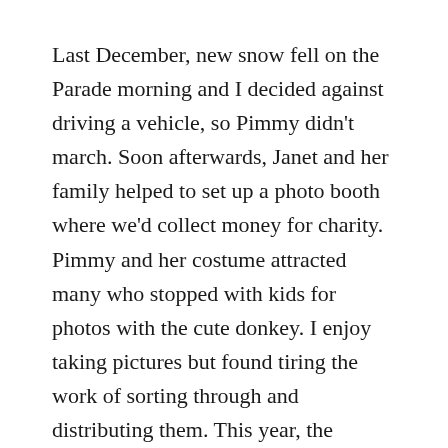Last December, new snow fell on the Parade morning and I decided against driving a vehicle, so Pimmy didn't march. Soon afterwards, Janet and her family helped to set up a photo booth where we'd collect money for charity. Pimmy and her costume attracted many who stopped with kids for photos with the cute donkey. I enjoy taking pictures but found tiring the work of sorting through and distributing them. This year, the Parade hopefully on a day without snow would be fun enough.
I'm chagrined to have missed the ticketing deadline, but other things, too, dropped by the wayside. My horses need regular exercising but won't be pulling any vehicles before spring, and getting myself out and